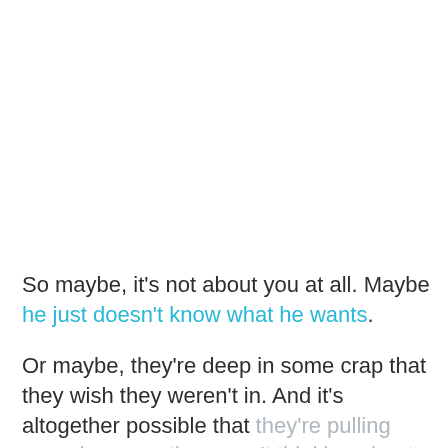So maybe, it's not about you at all. Maybe he just doesn't know what he wants.
Or maybe, they're deep in some crap that they wish they weren't in. And it's altogether possible that they're pulling away because they aren't thinking about dating at all.